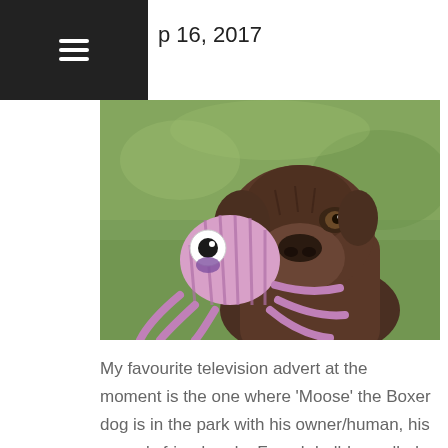p 16, 2017
[Figure (photo): A Boxer dog holding a pink/purple stuffed octopus toy in its mouth, standing outdoors on green grass.]
My favourite television advert at the moment is the one where ‘Moose’ the Boxer dog is in the park with his owner/human, his owner’s friend and a French bulldog called Bean who is